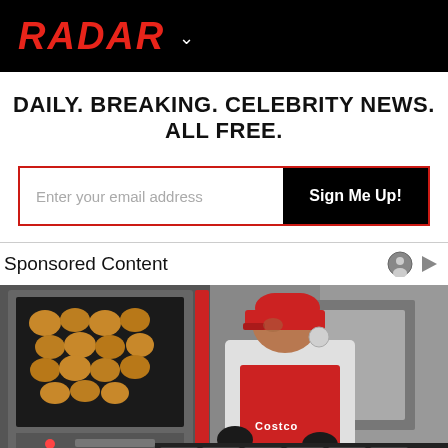RADAR
DAILY. BREAKING. CELEBRITY NEWS. ALL FREE.
Enter your email address | Sign Me Up!
Sponsored Content
[Figure (photo): A Costco bakery worker wearing a red cap and red Costco apron working in a commercial kitchen with a large oven filled with bread rolls in the background]